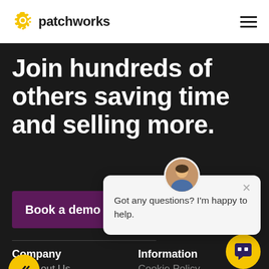patchworks
Join hundreds of others saving time and selling more.
Book a demo →
[Figure (other): Chat popup widget with avatar photo and message: Got any questions? I'm happy to help.]
Company
Information
About Us
Cookie Policy